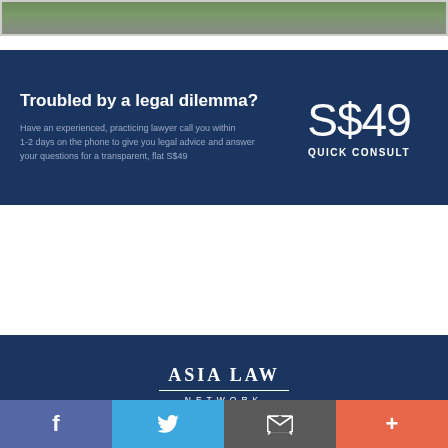[Figure (photo): Top portion of a photo strip showing people, partially cropped]
Troubled by a legal dilemma?
Have an experienced, practicing lawyer call you within 1-2 days on the phone to give you legal advice and answer your questions for a transparent, flat S$49
S$49 QUICK CONSULT
[Figure (logo): Asia Law Network logo with serif text and horizontal rule]
ALL RIGHTS RESERVED © 2017 ASIA LAW NETWORK
[Figure (infographic): Social media bar with Facebook, Twitter, email, and plus buttons]